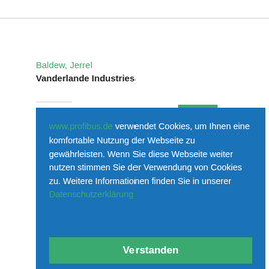Baldew, Jerrel
Vanderlande Industries
www.profibus.de verwendet Cookies, um Ihnen eine komfortable Nutzung der Webseite zu gewährleisten. Wenn Sie diese Webseite weiter nutzen stimmen Sie der Verwendung von Cookies zu. Weitere Informationen finden Sie in unserer Datenschutzerklärung
Verstanden
Baldew, Daniel
Brenner GmbH